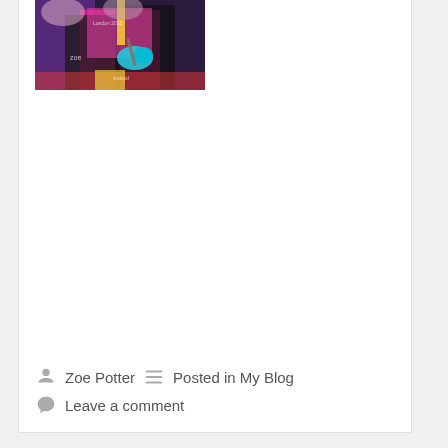[Figure (photo): Two children wearing dark aprons with 'zoe' branding and a pink shirt with 'London 2012' text, painting or crafting with colorful materials at a table.]
Zoe Potter   Posted in My Blog
Leave a comment